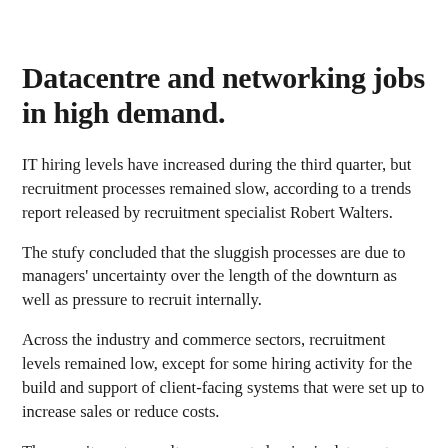Datacentre and networking jobs in high demand.
IT hiring levels have increased during the third quarter, but recruitment processes remained slow, according to a trends report released by recruitment specialist Robert Walters.
The stufy concluded that the sluggish processes are due to managers' uncertainty over the length of the downturn as well as pressure to recruit internally.
Across the industry and commerce sectors, recruitment levels remained low, except for some hiring activity for the build and support of client-facing systems that were set up to increase sales or reduce costs.
The recruitment consultancy reported a rise in data centre projects, meaning professionals with expertise in change and migration as